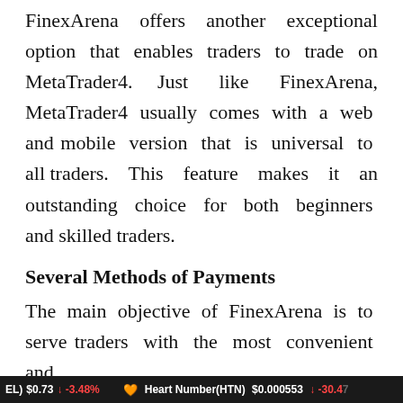FinexArena offers another exceptional option that enables traders to trade on MetaTrader4. Just like FinexArena, MetaTrader4 usually comes with a web and mobile version that is universal to all traders. This feature makes it an outstanding choice for both beginners and skilled traders.
Several Methods of Payments
The main objective of FinexArena is to serve traders with the most convenient and
EL) $0.73 ↓ -3.48%   🧡 Heart Number(HTN) $0.000553 ↓ -30.47